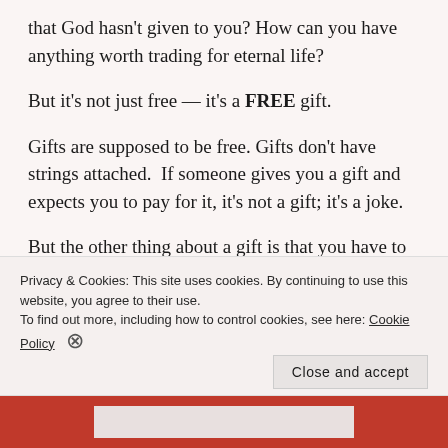that God hasn't given to you? How can you have anything worth trading for eternal life?
But it's not just free — it's a FREE gift.
Gifts are supposed to be free. Gifts don't have strings attached.  If someone gives you a gift and expects you to pay for it, it's not a gift; it's a joke.
But the other thing about a gift is that you have to accept it. Anybody can give you a gift, but it doesn't do you any good until you take it. It would be like someone giving me an Amazon Gift Card (you
Privacy & Cookies: This site uses cookies. By continuing to use this website, you agree to their use.
To find out more, including how to control cookies, see here: Cookie Policy
Close and accept